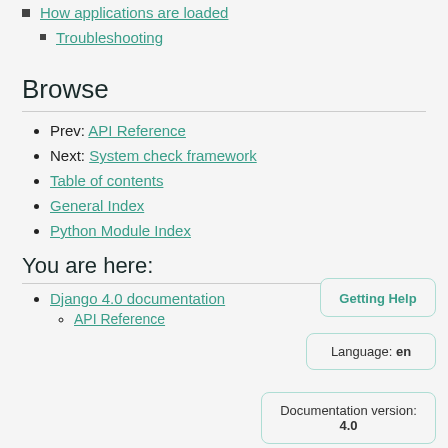How applications are loaded
Troubleshooting
Browse
Prev: API Reference
Next: System check framework
Table of contents
General Index
Python Module Index
You are here:
Django 4.0 documentation
API Reference